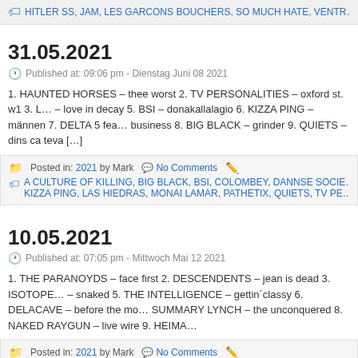HITLER SS, JAM, LES GARCONS BOUCHERS, SO MUCH HATE, VENTR…
31.05.2021
Published at: 09:06 pm - Dienstag Juni 08 2021
1. HAUNTED HORSES – thee worst 2. TV PERSONALITIES – oxford st. w1 3. L… – love in decay 5. BSI – donakallalagio 6. KIZZA PING – männen 7. DELTA 5 fea… business 8. BIG BLACK – grinder 9. QUIETS – dins ca teva […]
Posted in: 2021 by Mark   No Comments
A CULTURE OF KILLING, BIG BLACK, BSI, COLOMBEY, DANNSE SOCIE… KIZZA PING, LAS HIEDRAS, MONAI LAMAR, PATHETIX, QUIETS, TV PE…
10.05.2021
Published at: 07:05 pm - Mittwoch Mai 12 2021
1. THE PARANOYDS – face first 2. DESCENDENTS – jean is dead 3. ISOTOPE… – snaked 5. THE INTELLIGENCE – gettin´classy 6. DELACAVE – before the mo… SUMMARY LYNCH – the unconquered 8. NAKED RAYGUN – live wire 9. HEIMA…
Posted in: 2021 by Mark   No Comments